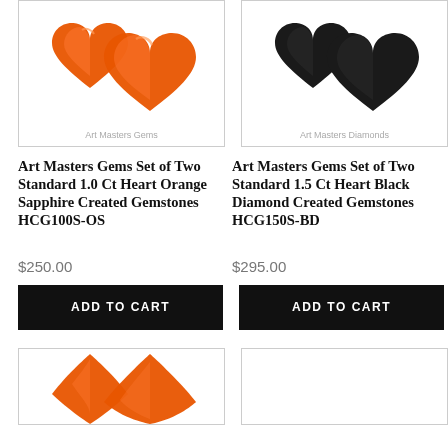[Figure (photo): Two heart-shaped orange sapphire created gemstones on white background with 'Art Masters Gems' watermark]
[Figure (photo): Two heart-shaped black diamond created gemstones on white background with 'Art Masters Diamonds' watermark]
Art Masters Gems Set of Two Standard 1.0 Ct Heart Orange Sapphire Created Gemstones HCG100S-OS
Art Masters Gems Set of Two Standard 1.5 Ct Heart Black Diamond Created Gemstones HCG150S-BD
$250.00
$295.00
ADD TO CART
ADD TO CART
[Figure (photo): Partially visible heart-shaped orange gemstones at bottom of page]
[Figure (photo): Partially visible product image at bottom right of page]